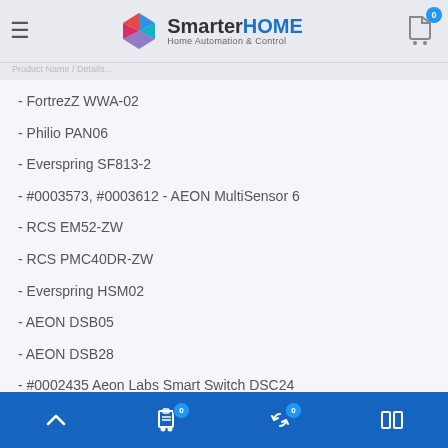SmarterHOME - Home Automation & Control
- FortrezZ WWA-02
- Philio PAN06
- Everspring SF813-2
- #0003573, #0003612 - AEON MultiSensor 6
- RCS EM52-ZW
- RCS PMC40DR-ZW
- Everspring HSM02
- AEON DSB05
- AEON DSB28
- #0002435 Aeon Labs Smart Switch DSC24
- #0002306 Aeon Labs DSC06106
- FGGC-001
Navigation bar with back-to-top, cart (0), refresh (0), and compare buttons